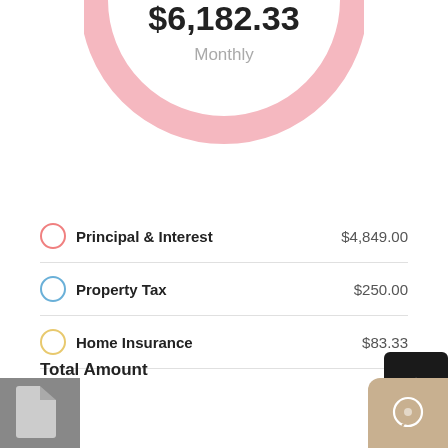[Figure (donut-chart): Partial donut/ring chart in pink showing $6,182.33 Monthly total mortgage payment, cropped at top]
Principal & Interest $4,849.00
Property Tax $250.00
Home Insurance $83.33
PMI $1,000.00
Total Amount
$ 670000